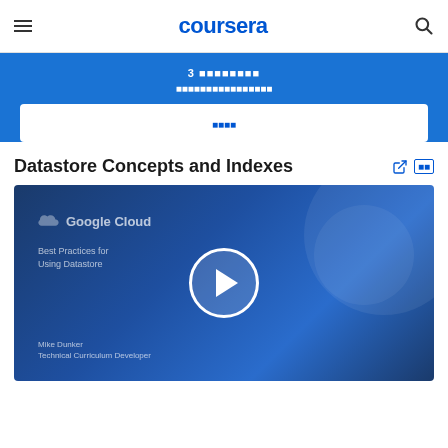coursera
3 ■■■■■■■■
■■■■■■■■■■■■■■■■
■■■■
Datastore Concepts and Indexes
[Figure (screenshot): Video thumbnail showing a Google Cloud course video titled 'Best Practices for Using Datastore' with a play button in the center and presenter Mike Dunker, Technical Curriculum Developer listed at the bottom left.]